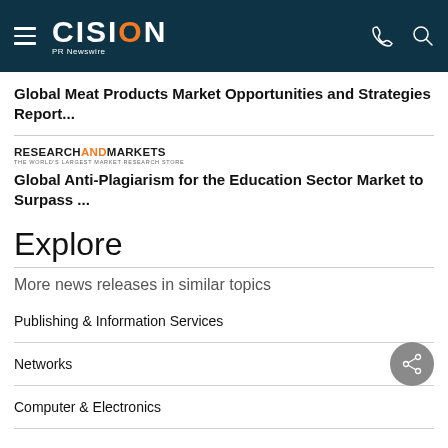CISION PR Newswire
Global Meat Products Market Opportunities and Strategies Report...
[Figure (logo): ResearchAndMarkets logo - THE WORLD'S LARGEST MARKET RESEARCH STORE]
Global Anti-Plagiarism for the Education Sector Market to Surpass ...
Explore
More news releases in similar topics
Publishing & Information Services
Networks
Computer & Electronics